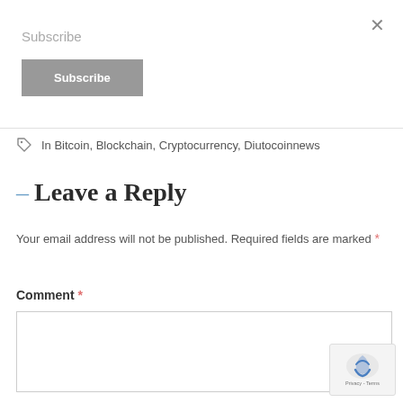×
Subscribe
Subscribe
In Bitcoin, Blockchain, Cryptocurrency, Diutocoinnews
– Leave a Reply
Your email address will not be published. Required fields are marked *
Comment *